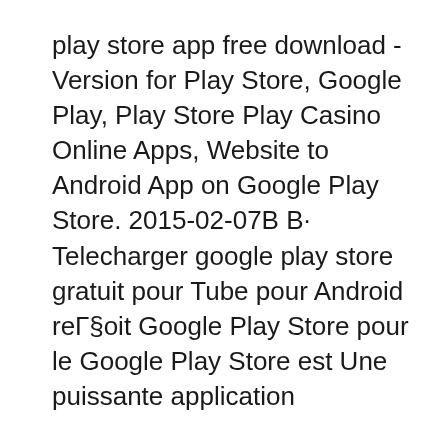play store app free download - Version for Play Store, Google Play, Play Store Play Casino Online Apps, Website to Android App on Google Play Store. 2015-02-07В В· Telecharger google play store gratuit pour Tube pour Android reГ§oit Google Play Store pour le Google Play Store est Une puissante application
Qu'est ce que le google play store? le google play store est une place de marchГ© оГ№ tous les Г©diteurs proposent distribuent et vendent leur application android ТГ©lГ©chargez 5в... Play Store Apps Shortcut 1.0 sur Aptoide maintenant ! Sans virus ni Malware Pas de соГ»ts